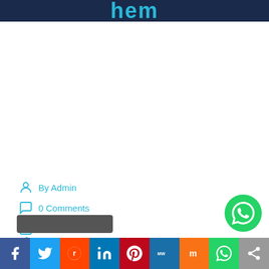hem
By Admin
0 Comments
Octubre 20, 2020
Cantidad de veces que ha sido visitado este producto: 38
If you're one and looking to that special some
f  Twitter  Reddit  in  Pinterest  MW  Mix  WhatsApp  Share